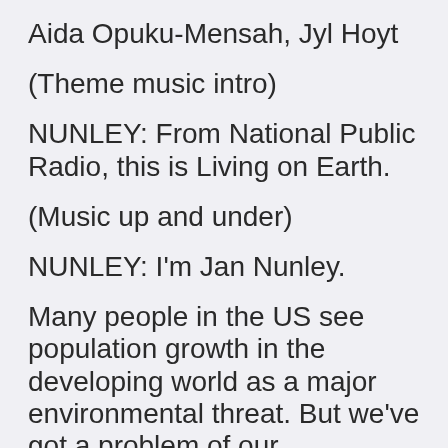Aida Opuku-Mensah, Jyl Hoyt
(Theme music intro)
NUNLEY: From National Public Radio, this is Living on Earth.
(Music up and under)
NUNLEY: I'm Jan Nunley.
Many people in the US see population growth in the developing world as a major environmental threat. But we've got a problem of our own...